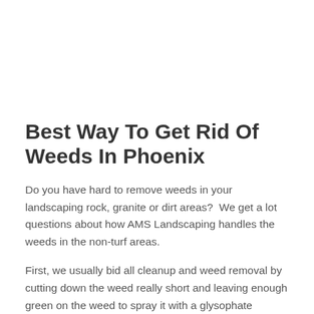Best Way To Get Rid Of Weeds In Phoenix
Do you have hard to remove weeds in your landscaping rock, granite or dirt areas?  We get a lot questions about how AMS Landscaping handles the weeds in the non-turf areas.
First, we usually bid all cleanup and weed removal by cutting down the weed really short and leaving enough green on the weed to spray it with a glysophate product that will kill the weed all the way to the root.